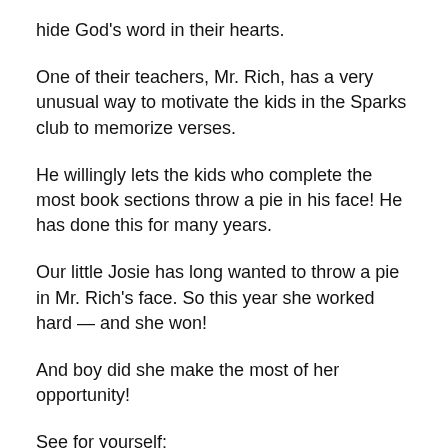hide God's word in their hearts.
One of their teachers, Mr. Rich, has a very unusual way to motivate the kids in the Sparks club to memorize verses.
He willingly lets the kids who complete the most book sections throw a pie in his face! He has done this for many years.
Our little Josie has long wanted to throw a pie in Mr. Rich's face. So this year she worked hard — and she won!
And boy did she make the most of her opportunity!
See for yourself: